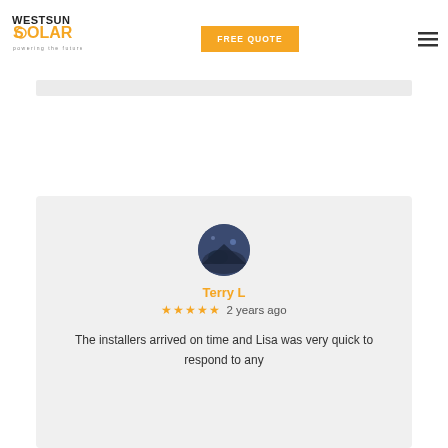[Figure (logo): WestSun Solar logo with text 'WESTSUN SOLAR powering the future' in orange and dark colors]
FREE QUOTE
[Figure (illustration): Hamburger menu icon (three horizontal lines)]
[Figure (photo): Circular avatar photo of reviewer Terry L showing a dark/night sky scene]
Terry L
★★★★★ 2 years ago
The installers arrived on time and Lisa was very quick to respond to any